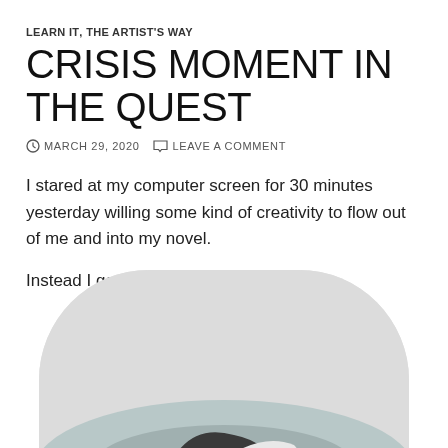LEARN IT, THE ARTIST'S WAY
CRISIS MOMENT IN THE QUEST
MARCH 29, 2020   LEAVE A COMMENT
I stared at my computer screen for 30 minutes yesterday willing some kind of creativity to flow out of me and into my novel.
Instead I got up and did the laundry.
[Figure (photo): A person lying on a bed surrounded by laundry/clothing items, viewed from above, with a rounded-top rectangular frame. Background is light grey/white.]